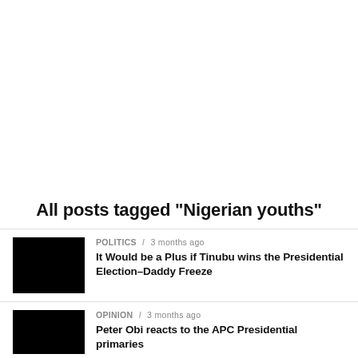All posts tagged "Nigerian youths"
POLITICS / 3 months ago
It Would be a Plus if Tinubu wins the Presidential Election–Daddy Freeze
OPINION / 3 months ago
Peter Obi reacts to the APC Presidential primaries